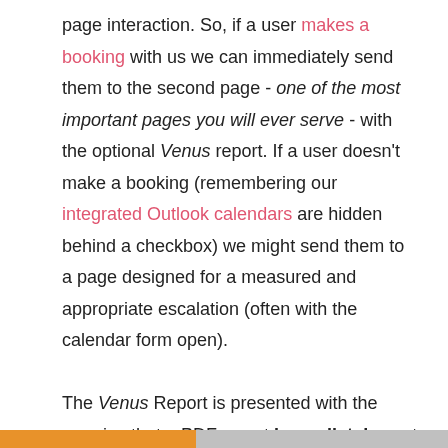page interaction. So, if a user makes a booking with us we can immediately send them to the second page - one of the most important pages you will ever serve - with the optional Venus report. If a user doesn't make a booking (remembering our integrated Outlook calendars are hidden behind a checkbox) we might send them to a page designed for a measured and appropriate escalation (often with the calendar form open). The Venus Report is presented with the promise that a PDF report immediately sent to them. On the basis of various trigger